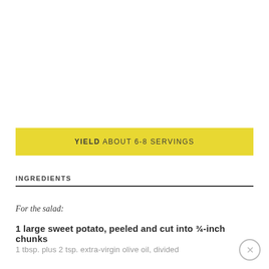YIELD ABOUT 6-8 SERVINGS
INGREDIENTS
For the salad:
1 large sweet potato, peeled and cut into ¾-inch chunks
1 tbsp. plus 2 tsp. extra-virgin olive oil, divided